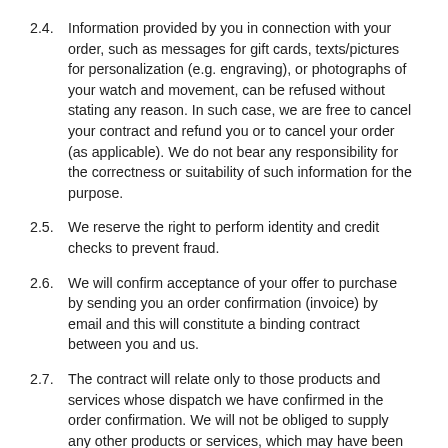2.4.    Information provided by you in connection with your order, such as messages for gift cards, texts/pictures for personalization (e.g. engraving), or photographs of your watch and movement, can be refused without stating any reason. In such case, we are free to cancel your contract and refund you or to cancel your order (as applicable). We do not bear any responsibility for the correctness or suitability of such information for the purpose.
2.5.    We reserve the right to perform identity and credit checks to prevent fraud.
2.6.    We will confirm acceptance of your offer to purchase by sending you an order confirmation (invoice) by email and this will constitute a binding contract between you and us.
2.7.    The contract will relate only to those products and services whose dispatch we have confirmed in the order confirmation. We will not be obliged to supply any other products or services, which may have been part of your order until the dispatch of such products or services has been confirmed in a separate order confirmation.